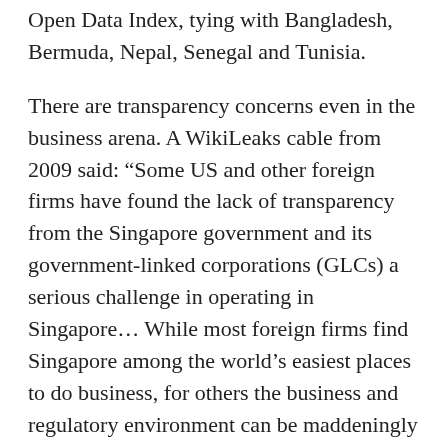Open Data Index, tying with Bangladesh, Bermuda, Nepal, Senegal and Tunisia.
There are transparency concerns even in the business arena. A WikiLeaks cable from 2009 said: “Some US and other foreign firms have found the lack of transparency from the Singapore government and its government-linked corporations (GLCs) a serious challenge in operating in Singapore… While most foreign firms find Singapore among the world’s easiest places to do business, for others the business and regulatory environment can be maddeningly non-transparent.”
This is why I agree with a key point that Kwon Ping made in his final lecture. He said: “A governance culture of participatory democracy can work only if the institutions of civil society can be actively engaged in decision-making.”
He then added: “For that to happen, civil society